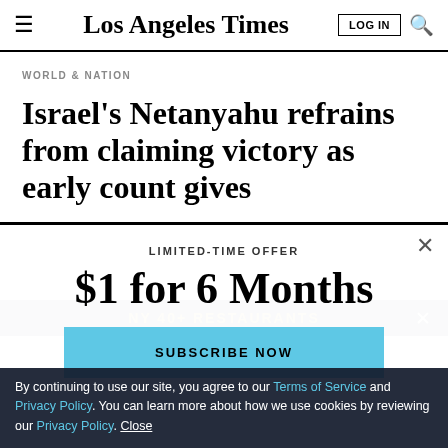Los Angeles Times
WORLD & NATION
Israel's Netanyahu refrains from claiming victory as early count gives
LIMITED-TIME OFFER
$1 for 6 Months
SUBSCRIBE NOW
By continuing to use our site, you agree to our Terms of Service and Privacy Policy. You can learn more about how we use cookies by reviewing our Privacy Policy. Close